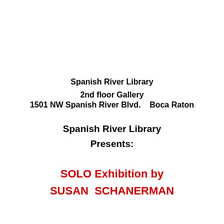Spanish River Library
2nd floor Gallery
1501 NW Spanish River Blvd.    Boca Raton
Spanish River Library
Presents:
SOLO Exhibition by
SUSAN  SCHANERMAN